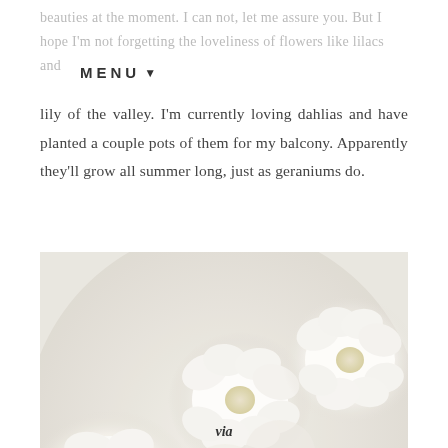MENU ▼
beauties at the moment. I can not, let me assure you. But I hope I'm not forgetting the loveliness of flowers like lilacs and lily of the valley. I'm currently loving dahlias and have planted a couple pots of them for my balcony. Apparently they'll grow all summer long, just as geraniums do.
[Figure (photo): Close-up photograph of white dahlia flowers clustered together, filling the entire frame with soft white petals and pale cream centers]
via